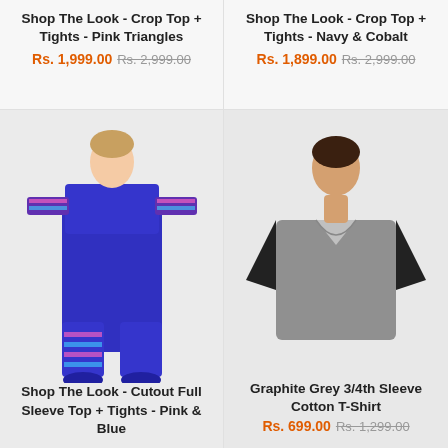Shop The Look - Crop Top + Tights - Pink Triangles
Rs. 1,999.00  Rs. 2,999.00
Shop The Look - Crop Top + Tights - Navy & Cobalt
Rs. 1,899.00  Rs. 2,999.00
[Figure (photo): Woman wearing a blue crop top with pink and teal striped pattern on sleeves and matching striped tights, with blue sneakers.]
[Figure (photo): Woman wearing a grey and black raglan 3/4 sleeve cotton V-neck T-shirt.]
Shop The Look - Cutout Full Sleeve Top + Tights - Pink & Blue
Graphite Grey 3/4th Sleeve Cotton T-Shirt
Rs. 699.00  Rs. 1,299.00